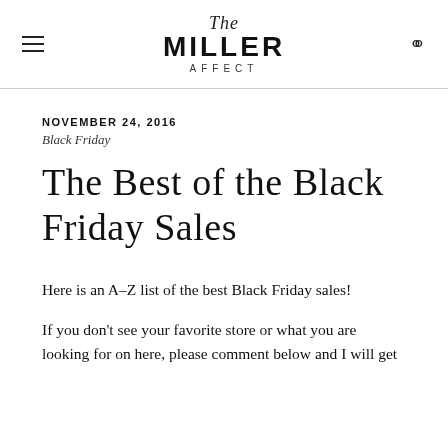The MILLER AFFECT
NOVEMBER 24, 2016
Black Friday
The Best of the Black Friday Sales
Here is an A-Z list of the best Black Friday sales!
If you don't see your favorite store or what you are looking for on here, please comment below and I will get